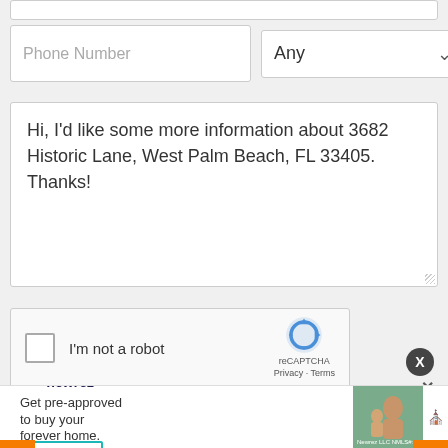[Figure (screenshot): Partial top input field (white bar, likely email or name field, cropped at top)]
[Figure (screenshot): Phone Number text input field and 'Any' dropdown selector side by side]
Hi, I'd like some more information about 3682 Historic Lane, West Palm Beach, FL 33405. Thanks!
[Figure (screenshot): reCAPTCHA widget with checkbox labeled 'I'm not a robot']
[Figure (screenshot): SEND MESSAGE teal button]
[Figure (screenshot): newrez advertisement banner: 'Get pre-approved to buy your forever home.' with CALL NOW button, photo of woman and child, close X buttons, and equal housing logo. Newrez LLC NMLS#: 3013]